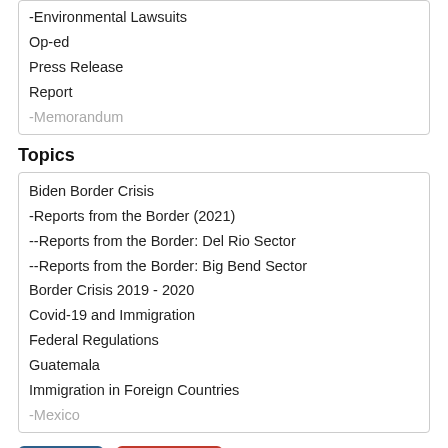-Environmental Lawsuits
Op-ed
Press Release
Report
-Memorandum
Topics
Biden Border Crisis
-Reports from the Border (2021)
--Reports from the Border: Del Rio Sector
--Reports from the Border: Big Bend Sector
Border Crisis 2019 - 2020
Covid-19 and Immigration
Federal Regulations
Guatemala
Immigration in Foreign Countries
-Mexico
Apply
Reset
States Are Utterly Dependent on the Feds to Secure the Border, Enforce Immigration Laws